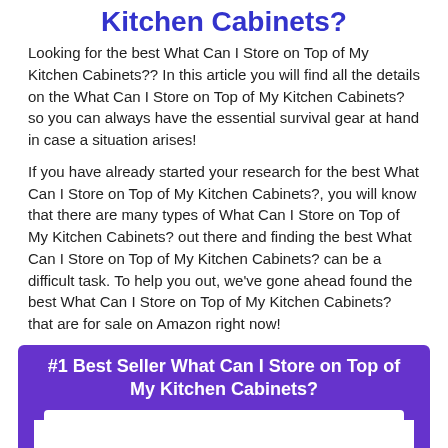Kitchen Cabinets?
Looking for the best What Can I Store on Top of My Kitchen Cabinets?? In this article you will find all the details on the What Can I Store on Top of My Kitchen Cabinets? so you can always have the essential survival gear at hand in case a situation arises!
If you have already started your research for the best What Can I Store on Top of My Kitchen Cabinets?, you will know that there are many types of What Can I Store on Top of My Kitchen Cabinets? out there and finding the best What Can I Store on Top of My Kitchen Cabinets? can be a difficult task. To help you out, we've gone ahead found the best What Can I Store on Top of My Kitchen Cabinets? that are for sale on Amazon right now!
#1 Best Seller What Can I Store on Top of My Kitchen Cabinets?